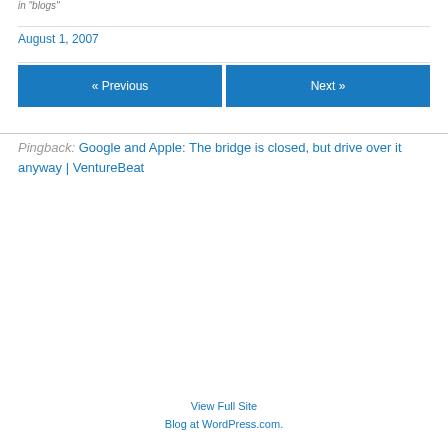in  blogs
August 1, 2007
« Previous
Next »
Pingback: Google and Apple: The bridge is closed, but drive over it anyway | VentureBeat
View Full Site
Blog at WordPress.com.